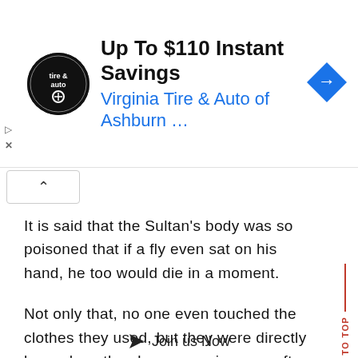[Figure (screenshot): Advertisement banner for Virginia Tire & Auto showing 'Up To $110 Instant Savings' with logo and navigation arrow icon]
It is said that the Sultan's body was so poisoned that if a fly even sat on his hand, he too would die in a moment.
Not only that, no one even touched the clothes they used, but they were directly burned, as they became poisonous after the Sultan had worn them.
Join us Now